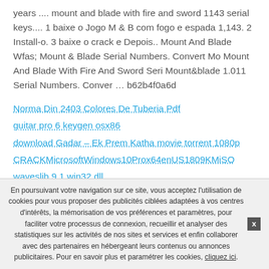years .... mount and blade with fire and sword 1143 serial keys.... 1 baixe o Jogo M & B com fogo e espada 1,143. 2 Install-o. 3 baixe o crack e Depois.. Mount And Blade Wfas; Mount & Blade Serial Numbers. Convert Mo Mount And Blade With Fire And Sword Seri Mount&blade 1.011 Serial Numbers. Conver … b62b4f0a6d
Norma Din 2403 Colores De Tuberia Pdf
guitar pro 6 keygen osx86
download Gadar – Ek Prem Katha movie torrent 1080p
CRACKMicrosoftWindows10Prox64enUS1809KMiSO
waveslib 9.1 win32.dll
mapa portugal espanha ndrive g280
En poursuivant votre navigation sur ce site, vous acceptez l'utilisation de cookies pour vous proposer des publicités ciblées adaptées à vos centres d'intérêts, la mémorisation de vos préférences et paramètres, pour faciliter votre processus de connexion, recueillir et analyser des statistiques sur les activités de nos sites et services et enfin collaborer avec des partenaires en hébergeant leurs contenus ou annonces publicitaires. Pour en savoir plus et paramétrer les cookies, cliquez ici.